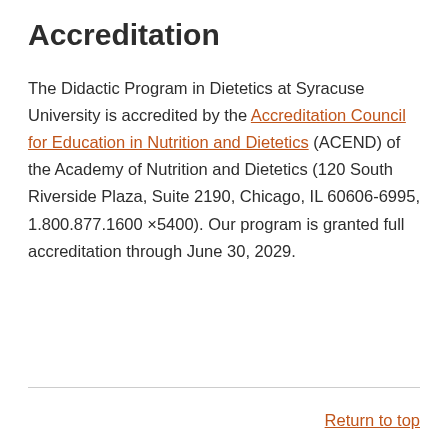Accreditation
The Didactic Program in Dietetics at Syracuse University is accredited by the Accreditation Council for Education in Nutrition and Dietetics (ACEND) of the Academy of Nutrition and Dietetics (120 South Riverside Plaza, Suite 2190, Chicago, IL 60606-6995, 1.800.877.1600 ×5400). Our program is granted full accreditation through June 30, 2029.
Return to top